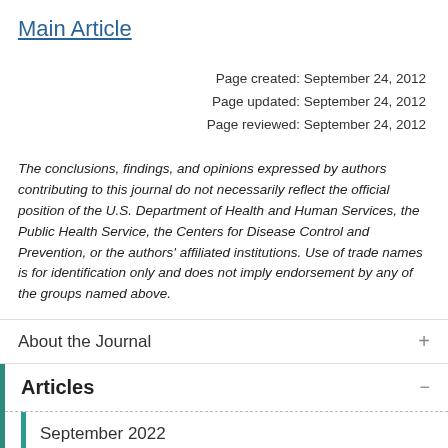Main Article
Page created: September 24, 2012
Page updated: September 24, 2012
Page reviewed: September 24, 2012
The conclusions, findings, and opinions expressed by authors contributing to this journal do not necessarily reflect the official position of the U.S. Department of Health and Human Services, the Public Health Service, the Centers for Disease Control and Prevention, or the authors' affiliated institutions. Use of trade names is for identification only and does not imply endorsement by any of the groups named above.
About the Journal
Articles
September 2022